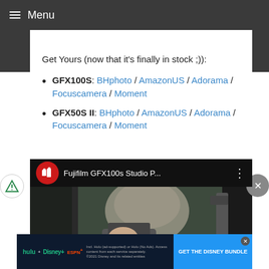≡ Menu
Get Yours (now that it's finally in stock ;)):
GFX100S: BHphoto / AmazonUS / Adorama / Focuscamera / Moment
GFX50S II: BHphoto / AmazonUS / Adorama / Focuscamera / Moment
[Figure (screenshot): YouTube video thumbnail showing a person using a camera, with title 'Fujifilm GFX100s Studio P...' and a red camera channel icon]
[Figure (screenshot): Advertisement banner: GET THE DISNEY BUNDLE with Hulu, Disney+, ESPN+ logos on dark background]